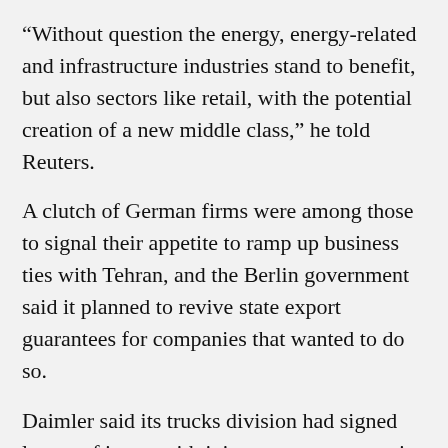“Without question the energy, energy-related and infrastructure industries stand to benefit, but also sectors like retail, with the potential creation of a new middle class,” he told Reuters.
A clutch of German firms were among those to signal their appetite to ramp up business ties with Tehran, and the Berlin government said it planned to revive state export guarantees for companies that wanted to do so.
Daimler said its trucks division had signed letters of intent with joint venture partners in Iran in order to re-enter the market, where it was selling up to 10,000 vehicles a year until 2010. Its rival Audi said it had representatives in Iran right now to discuss the “growing potential for luxury cars.”
Herrenknecht, a family-run German tunnelling company that helped to build the Tehran metro in the 1990s, said it expected Iran to put up new projects for tender, and it was ready to pounce on the opportunity.
Commerzbank, Germany’s number two lender, also said